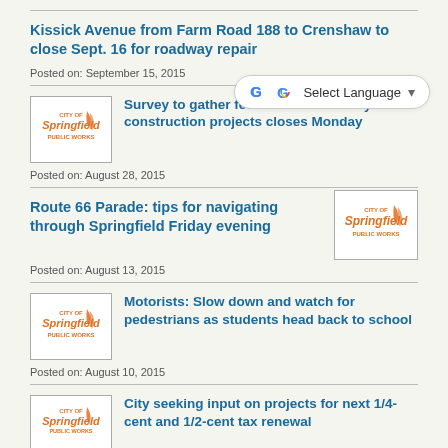Kissick Avenue from Farm Road 188 to Crenshaw to close Sept. 16 for roadway repair
Posted on: September 15, 2015
[Figure (logo): City of Springfield Public Works logo]
Survey to gather feedback on roadway construction projects closes Monday
Posted on: August 28, 2015
Route 66 Parade: tips for navigating through Springfield Friday evening
[Figure (logo): City of Springfield Public Works logo]
Posted on: August 13, 2015
[Figure (logo): City of Springfield Public Works logo]
Motorists: Slow down and watch for pedestrians as students head back to school
Posted on: August 10, 2015
[Figure (logo): City of Springfield Public Works logo]
City seeking input on projects for next 1/4-cent and 1/2-cent tax renewal